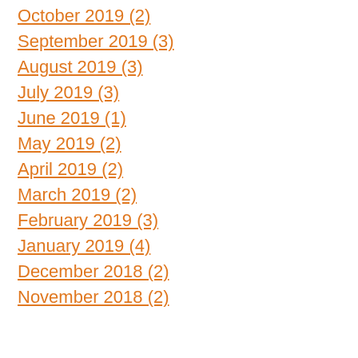October 2019 (2)
September 2019 (3)
August 2019 (3)
July 2019 (3)
June 2019 (1)
May 2019 (2)
April 2019 (2)
March 2019 (2)
February 2019 (3)
January 2019 (4)
December 2018 (2)
November 2018 (2)